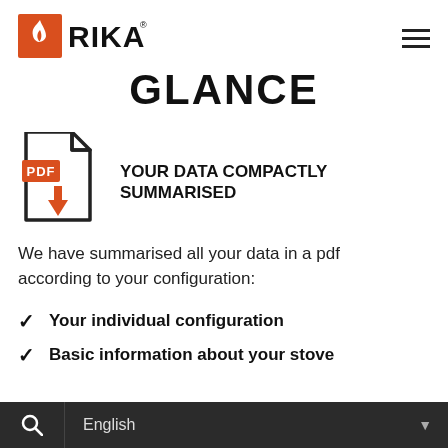[Figure (logo): RIKA brand logo with orange flame icon on left and RIKA text in black bold capitals]
GLANCE
[Figure (illustration): PDF file icon with orange PDF badge and orange downward arrow indicating download]
YOUR DATA COMPACTLY SUMMARISED
We have summarised all your data in a pdf according to your configuration:
Your individual configuration
Basic information about your stove
English